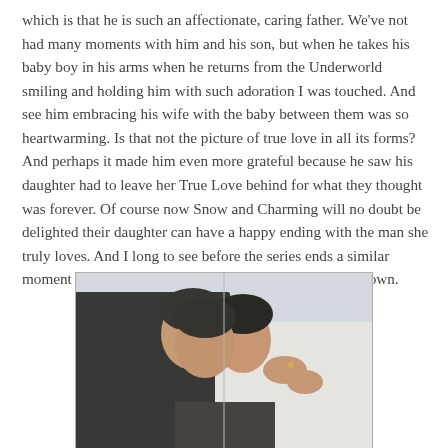which is that he is such an affectionate, caring father. We've not had many moments with him and his son, but when he takes his baby boy in his arms when he returns from the Underworld smiling and holding him with such adoration I was touched. And see him embracing his wife with the baby between them was so heartwarming. Is that not the picture of true love in all its forms? And perhaps it made him even more grateful because he saw his daughter had to leave her True Love behind for what they thought was forever. Of course now Snow and Charming will no doubt be delighted their daughter can have a happy ending with the man she truly loves. And I long to see before the series ends a similar moment between Emma and Killian with a child of their own.
[Figure (photo): A couple kissing closely, the man in dark clothing and the woman in light clothing, photographed in an outdoor winter setting.]